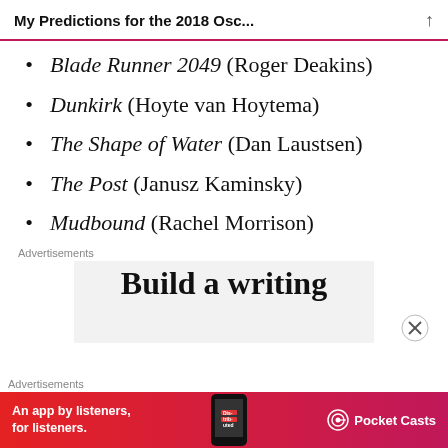My Predictions for the 2018 Osc...
Blade Runner 2049 (Roger Deakins)
Dunkirk (Hoyte van Hoytema)
The Shape of Water (Dan Laustsen)
The Post (Janusz Kaminsky)
Mudbound (Rachel Morrison)
Advertisements
[Figure (other): Advertisement banner: 'Build a writing' partial text visible, gray background]
Advertisements
[Figure (other): Pocket Casts advertisement: 'An app by listeners, for listeners.' on red background with Pocket Casts logo and phone image]